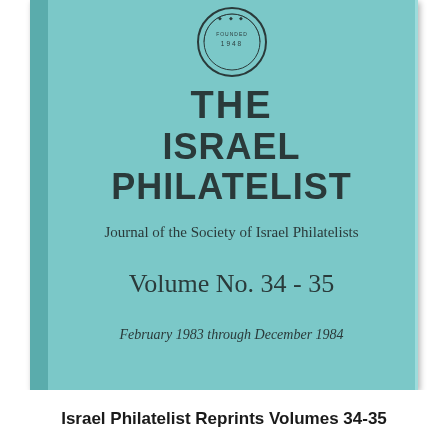[Figure (photo): Cover of a bound journal titled 'The Israel Philatelist', featuring a teal/turquoise hardcover with a circular seal at top, subtitle 'Journal of the Society of Israel Philatelists', Volume No. 34-35, dated February 1983 through December 1984.]
Israel Philatelist Reprints Volumes 34-35